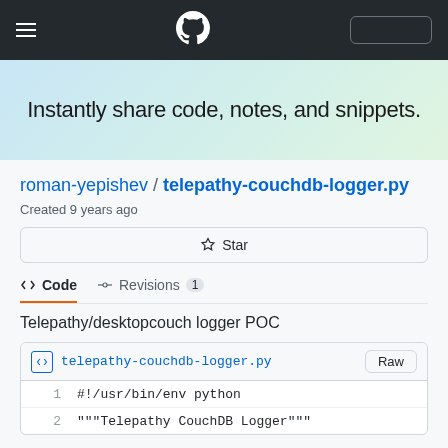GitHub navigation bar with hamburger menu, GitHub logo, and search box
Instantly share code, notes, and snippets.
roman-yepishev / telepathy-couchdb-logger.py
Created 9 years ago
Star
<> Code   -o- Revisions  1
Telepathy/desktopcouch logger POC
telepathy-couchdb-logger.py   Raw
1    #!/usr/bin/env python
2    """Telepathy CouchDB Logger"""